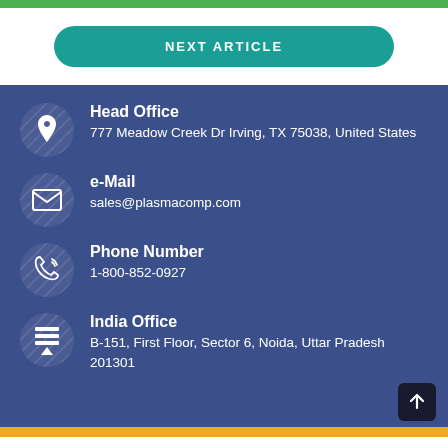[Figure (other): Green top bar decorative strip]
NEXT ARTICLE
Head Office
777 Meadow Creek Dr Irving, TX 75038, United States
e-Mail
sales@plasmacomp.com
Phone Number
1-800-852-0927
India Office
B-151, First Floor, Sector 6, Noida, Uttar Pradesh 201301